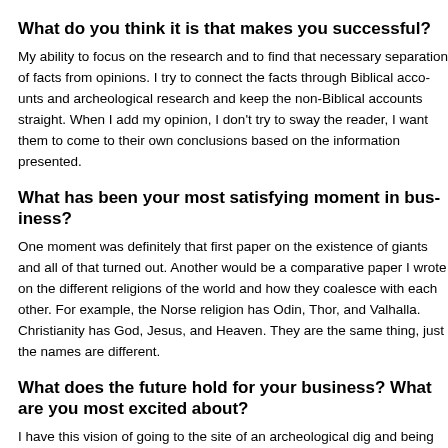What do you think it is that makes you successful?
My ability to focus on the research and to find that necessary separation of facts from opinions. I try to connect the facts through Biblical accounts and archeological research and keep the non-Biblical accounts straight. When I add my opinion, I don't try to sway the reader, I want them to come to their own conclusions based on the information presented.
What has been your most satisfying moment in business?
One moment was definitely that first paper on the existence of giants and how all of that turned out. Another would be a comparative paper I wrote on the different religions of the world and how they coalesce with each other. For example, the Norse religion has Odin, Thor, and Valhalla. Christianity has God, Jesus, and Heaven. They are the same thing, just the names are different.
What does the future hold for your business? What are you most excited about?
I have this vision of going to the site of an archeological dig and being